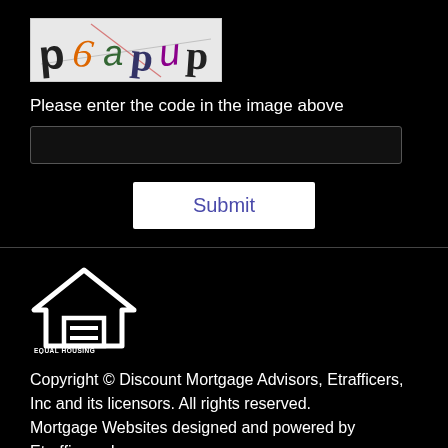[Figure (other): CAPTCHA image showing distorted text characters: p6apup in various colors on white background]
Please enter the code in the image above
[Figure (other): Text input field for CAPTCHA entry]
[Figure (other): Submit button]
[Figure (logo): Equal Housing Opportunity logo - house with equal sign]
Copyright © Discount Mortgage Advisors, Etrafficers, Inc and its licensors. All rights reserved. Mortgage Websites designed and powered by Etrafficers, Inc.